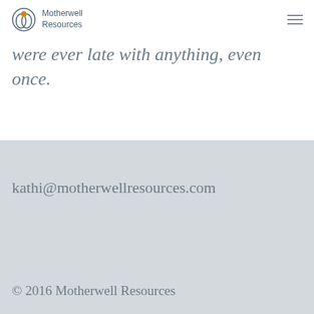Motherwell Resources
were ever late with anything, even once.
kathi@motherwellresources.com
© 2016 Motherwell Resources